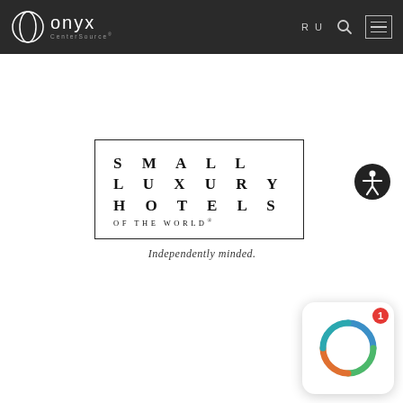Onyx CenterSource — RU navigation header with search and menu icons
[Figure (logo): Small Luxury Hotels of the World logo in a bordered rectangle with tagline 'Independently minded.' in script below]
[Figure (other): Circular accessibility icon (person with arms spread) in dark circle, bottom-right of main area]
[Figure (other): Notification widget in bottom-right corner showing a colorful ring/circle graphic with notification badge showing '1']